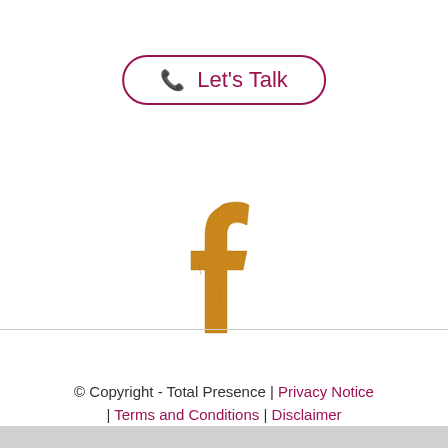[Figure (other): A rounded rectangle button outline with phone icon and 'Let's Talk' text in dark pink/maroon color]
[Figure (logo): Facebook lowercase 'f' logo rendered in golden/amber color, appearing as a stylized letter]
© Copyright - Total Presence | Privacy Notice | Terms and Conditions | Disclaimer